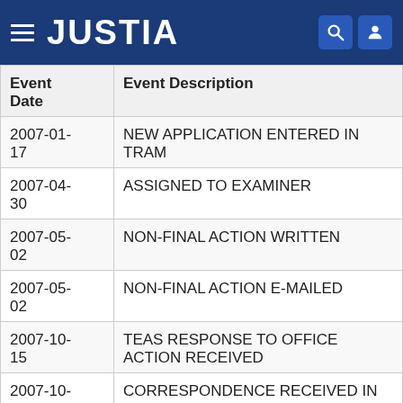JUSTIA
| Event Date | Event Description |
| --- | --- |
| 2007-01-17 | NEW APPLICATION ENTERED IN TRAM |
| 2007-04-30 | ASSIGNED TO EXAMINER |
| 2007-05-02 | NON-FINAL ACTION WRITTEN |
| 2007-05-02 | NON-FINAL ACTION E-MAILED |
| 2007-10-15 | TEAS RESPONSE TO OFFICE ACTION RECEIVED |
| 2007-10-15 | CORRESPONDENCE RECEIVED IN LAW OFFICE |